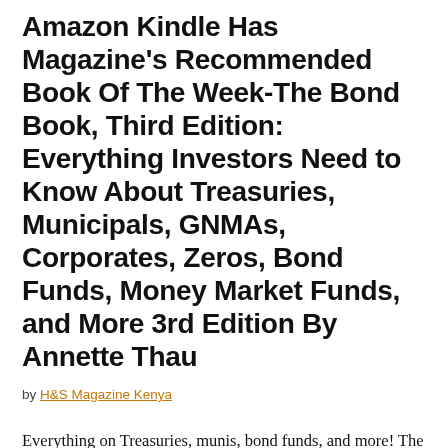Amazon Kindle Has Magazine's Recommended Book Of The Week-The Bond Book, Third Edition: Everything Investors Need to Know About Treasuries, Municipals, GNMAs, Corporates, Zeros, Bond Funds, Money Market Funds, and More 3rd Edition By Annette Thau
by H&S Magazine Kenya
Everything on Treasuries, munis, bond funds, and more! The bond buyer's answer book—updated for the new economy. The financial